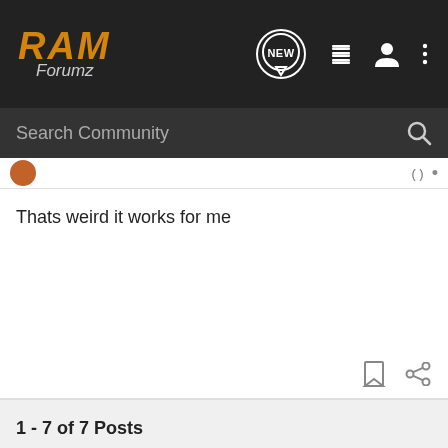RAM Forumz
Search Community
Thats weird it works for me
1 - 7 of 7 Posts
This is an older thread, you may not receive a response, and could be reviving an old thread. Please consider creating a new thread.